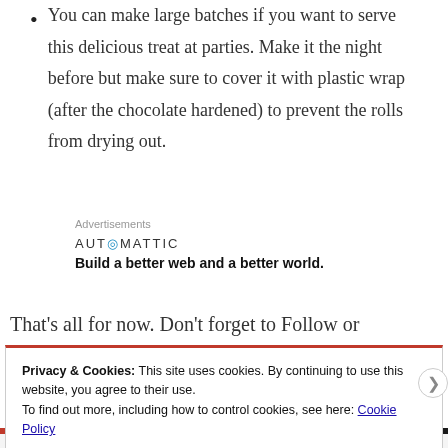You can make large batches if you want to serve this delicious treat at parties. Make it the night before but make sure to cover it with plastic wrap (after the chocolate hardened) to prevent the rolls from drying out.
Advertisements
AUTOMATTIC
Build a better web and a better world.
That's all for now. Don't forget to Follow or Subscribe to
Privacy & Cookies: This site uses cookies. By continuing to use this website, you agree to their use.
To find out more, including how to control cookies, see here: Cookie Policy
Close and accept